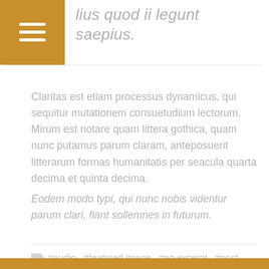lius quod ii legunt saepius.
Claritas est etiam processus dynamicus, qui sequitur mutationem consuetudium lectorum. Mirum est notare quam littera gothica, quam nunc putamus parum claram, anteposuerit litterarum formas humanitatis per seacula quarta decima et quinta decima.
Eodem modo typi, qui nunc nobis videntur parum clari, fiant sollemnes in futurum.
#audio  #featured image  #no excerpt  #post formats  #self hosted